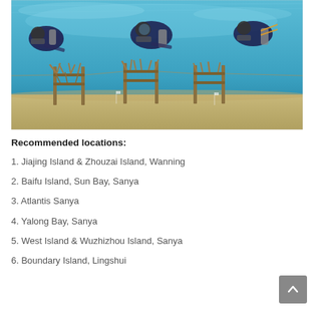[Figure (photo): Scuba divers underwater working on coral cultivation frames on a sandy seabed, with branching coral attached to metal structures, blue water background.]
Recommended locations:
1. Jiajing Island & Zhouzai Island, Wanning
2. Baifu Island, Sun Bay, Sanya
3. Atlantis Sanya
4. Yalong Bay, Sanya
5. West Island & Wuzhizhou Island, Sanya
6. Boundary Island, Lingshui